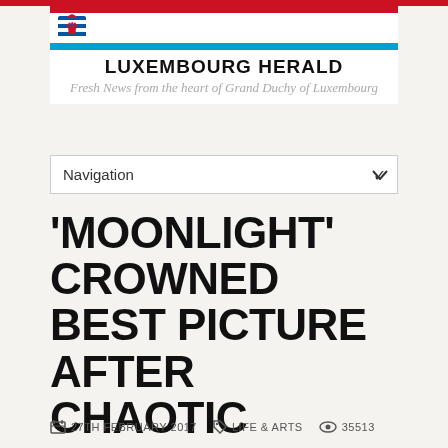[Figure (logo): Luxembourg Herald newspaper logo with Luxembourg flag (red, white, blue horizontal stripes) and coat of arms icon]
LUXEMBOURG HERALD
Fresh News from the heart of Grand Duchy of Luxembourg
Navigation
'MOONLIGHT' CROWNED BEST PICTURE AFTER CHAOTIC SCENES AT OSCARS
27TH FEBRUARY 2017   LIFE & ARTS   35513